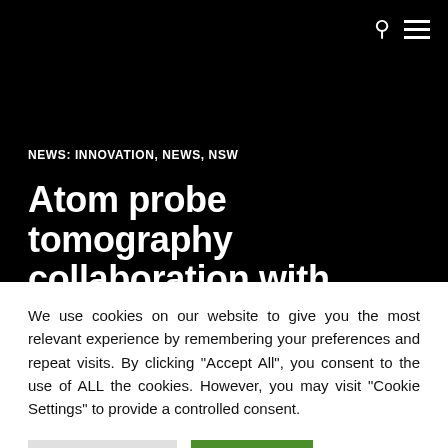NEWS: INNOVATION, NEWS, NSW
Atom probe tomography collaboration with CAMECA
We use cookies on our website to give you the most relevant experience by remembering your preferences and repeat visits. By clicking "Accept All", you consent to the use of ALL the cookies. However, you may visit "Cookie Settings" to provide a controlled consent.
Cookie Settings
Accept All